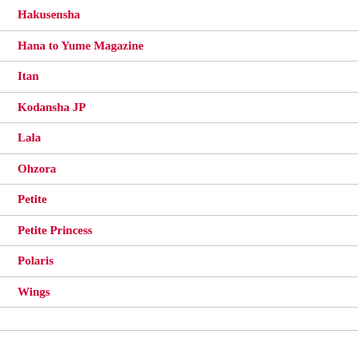Hakusensha
Hana to Yume Magazine
Itan
Kodansha JP
Lala
Ohzora
Petite
Petite Princess
Polaris
Wings